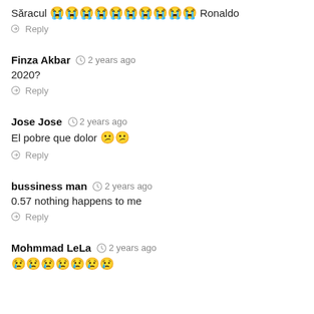Săracul 😭😭😭😭😭😭😭😭😭😭 Ronaldo
Reply
Finza Akbar  2 years ago
2020?
Reply
Jose Jose  2 years ago
El pobre que dolor 😕😕
Reply
bussiness man  2 years ago
0.57 nothing happens to me
Reply
Mohmmad LeLa  2 years ago
😢😢😢😢😢😢😢